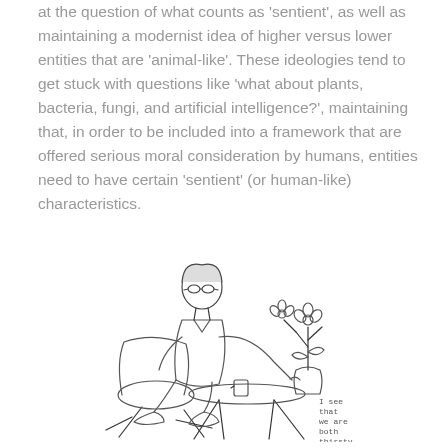at the question of what counts as 'sentient', as well as maintaining a modernist idea of higher versus lower entities that are 'animal-like'. These ideologies tend to get stuck with questions like 'what about plants, bacteria, fungi, and artificial intelligence?', maintaining that, in order to be included into a framework that are offered serious moral consideration by humans, entities need to have certain 'sentient' (or human-like) characteristics.
[Figure (illustration): Line drawing of a person with short hair and glasses sitting at a round table, reaching out to touch a potted plant with a flower. There is a cup on the table. Text next to the table reads: 'I see that we are both thirsty'.]